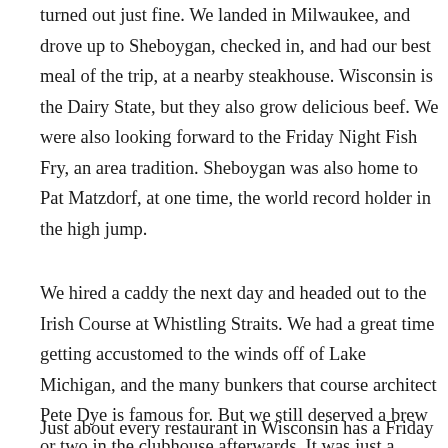turned out just fine.  We landed in Milwaukee, and drove up to Sheboygan, checked in, and had our best meal of the trip, at a nearby steakhouse.  Wisconsin is the Dairy State, but they also grow delicious beef.  We were also looking forward to the Friday Night Fish Fry, an area tradition.  Sheboygan was also home to Pat Matzdorf, at one time, the world record holder in the high jump.
We hired a caddy the next day and headed out to the Irish Course at Whistling Straits.  We had a great time getting accustomed to the winds off of Lake Michigan, and the many bunkers that course architect Pete Dye is famous for.  But we still deserved a brew or two in the clubhouse afterwards.  It was just a buildup to the Fish Fry.
Just about every restaurant in Wisconsin has a Friday Fish